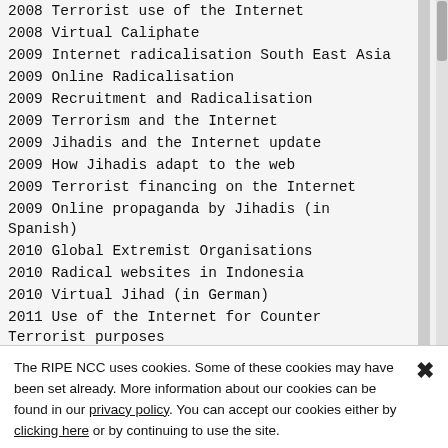2008 Terrorist use of the Internet
2008 Virtual Caliphate
2009 Internet radicalisation South East Asia
2009 Online Radicalisation
2009 Recruitment and Radicalisation
2009 Terrorism and the Internet
2009 Jihadis and the Internet update
2009 How Jihadis adapt to the web
2009 Terrorist financing on the Internet
2009 Online propaganda by Jihadis (in Spanish)
2010 Global Extremist Organisations
2010 Radical websites in Indonesia
2010 Virtual Jihad (in German)
2011 Use of the Internet for Counter Terrorist purposes
2011 Role of Internet for terrorists (in Spanish)
2012 Jihadism on the Web
2012 Terrorists Using Social Online
The RIPE NCC uses cookies. Some of these cookies may have been set already. More information about our cookies can be found in our privacy policy. You can accept our cookies either by clicking here or by continuing to use the site.